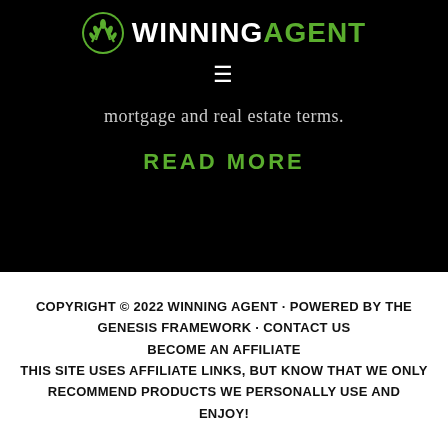WINNING AGENT
mortgage and real estate terms.
READ MORE
COPYRIGHT © 2022 WINNING AGENT · POWERED BY THE GENESIS FRAMEWORK · CONTACT US BECOME AN AFFILIATE THIS SITE USES AFFILIATE LINKS, BUT KNOW THAT WE ONLY RECOMMEND PRODUCTS WE PERSONALLY USE AND ENJOY!